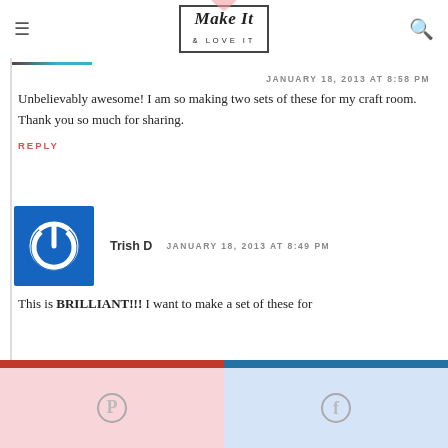Make It & LOVE IT
[Figure (illustration): Partial avatar image at top left, showing hair and teal color]
JANUARY 18, 2013 AT 8:58 PM
Unbelievably awesome! I am so making two sets of these for my craft room. Thank you so much for sharing.
REPLY
[Figure (illustration): Blue square avatar with white power/on button icon for commenter Trish D]
Trish D   JANUARY 18, 2013 AT 8:49 PM
This is BRILLIANT!!! I want to make a set of these for
[Figure (illustration): Pinterest share button (pink background)]
[Figure (illustration): Facebook share button (blue background)]